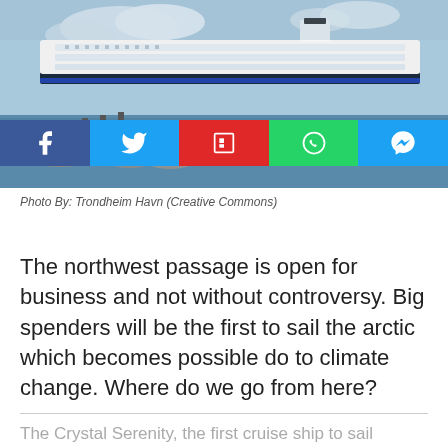[Figure (photo): Large white cruise ship docked near a rocky shoreline with calm water and blue sky in background]
Photo By: Trondheim Havn (Creative Commons)
The northwest passage is open for business and not without controversy. Big spenders will be the first to sail the arctic which becomes possible do to climate change. Where do we go from here?
The Crystal Serenity, the first cruise ship to sail